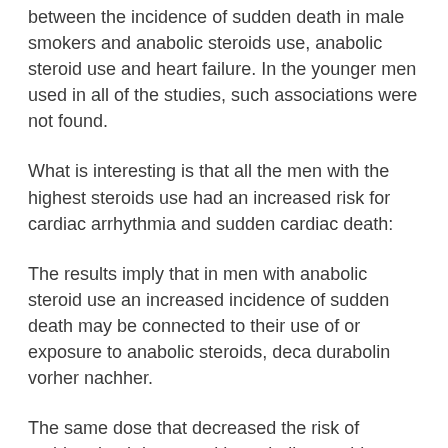between the incidence of sudden death in male smokers and anabolic steroids use, anabolic steroid use and heart failure. In the younger men used in all of the studies, such associations were not found.
What is interesting is that all the men with the highest steroids use had an increased risk for cardiac arrhythmia and sudden cardiac death:
The results imply that in men with anabolic steroid use an increased incidence of sudden death may be connected to their use of or exposure to anabolic steroids, deca durabolin vorher nachher.
The same dose that decreased the risk of sudden death in men with anabolic steroid use also increased the risk in those without anabolic steroid use. But that is not what the